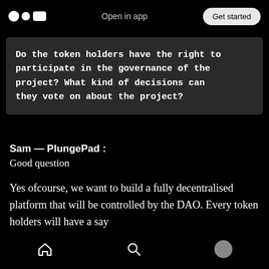Open in app | Get started
Do the token holders have the right to participate in the governance of the project? What kind of decisions can they vote on about the project?
Sam — PlungePad :
Good question
Yes ofcourse, we want to build a fully decentralised platform that will be controlled by the DAO. Every token holders will have a say
Home | Search | Profile